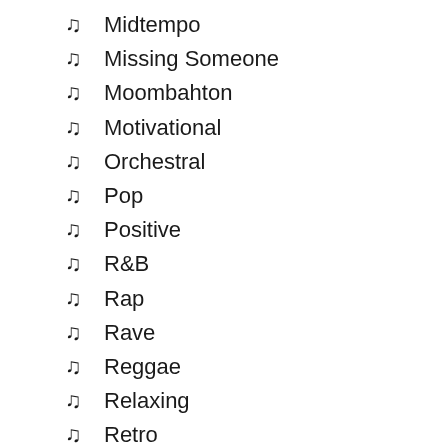Midtempo
Missing Someone
Moombahton
Motivational
Orchestral
Pop
Positive
R&B
Rap
Rave
Reggae
Relaxing
Retro